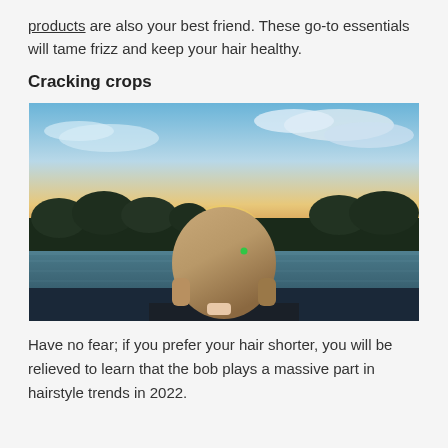products are also your best friend. These go-to essentials will tame frizz and keep your hair healthy.
Cracking crops
[Figure (photo): A woman with a short bob haircut viewed from behind, standing near a lake at sunset with trees in the background and dramatic sky with clouds.]
Have no fear; if you prefer your hair shorter, you will be relieved to learn that the bob plays a massive part in hairstyle trends in 2022.